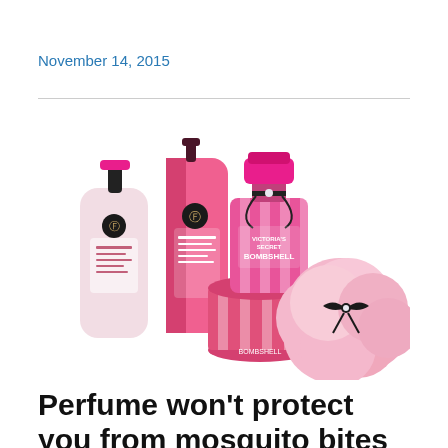November 14, 2015
[Figure (photo): Victoria's Secret Bombshell perfume collection including a body lotion bottle, mist spray bottle, perfume bottle with pink and white striped packaging, and a pink powder puff with black bow]
Perfume won't protect you from mosquito bites